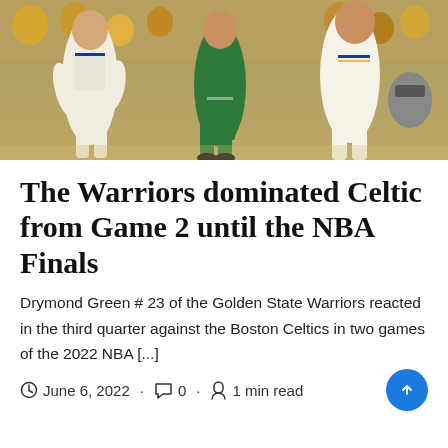[Figure (photo): Basketball game photo showing Golden State Warriors and Boston Celtics players during an NBA Finals game, with crowd visible in background]
The Warriors dominated Celtic from Game 2 until the NBA Finals
Drymond Green # 23 of the Golden State Warriors reacted in the third quarter against the Boston Celtics in two games of the 2022 NBA [...]
June 6, 2022 · 0 · 1 min read